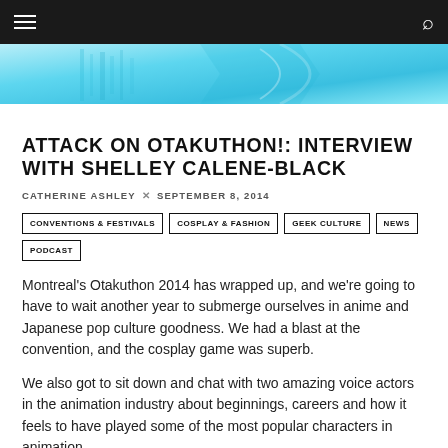Navigation bar with hamburger menu and search icon
[Figure (illustration): Cyan/teal hero banner image with anime-style decorative elements]
ATTACK ON OTAKUTHON!: INTERVIEW WITH SHELLEY CALENE-BLACK
CATHERINE ASHLEY × SEPTEMBER 8, 2014
CONVENTIONS & FESTIVALS
COSPLAY & FASHION
GEEK CULTURE
NEWS
PODCAST
Montreal's Otakuthon 2014 has wrapped up, and we're going to have to wait another year to submerge ourselves in anime and Japanese pop culture goodness. We had a blast at the convention, and the cosplay game was superb.
We also got to sit down and chat with two amazing voice actors in the animation industry about beginnings, careers and how it feels to have played some of the most popular characters in animation.